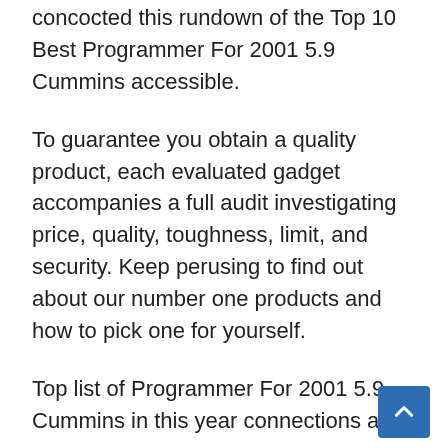concocted this rundown of the Top 10 Best Programmer For 2001 5.9 Cummins accessible.
To guarantee you obtain a quality product, each evaluated gadget accompanies a full audit investigating price, quality, toughness, limit, and security. Keep perusing to find out about our number one products and how to pick one for yourself.
Top list of Programmer For 2001 5.9 Cummins in this year connections are